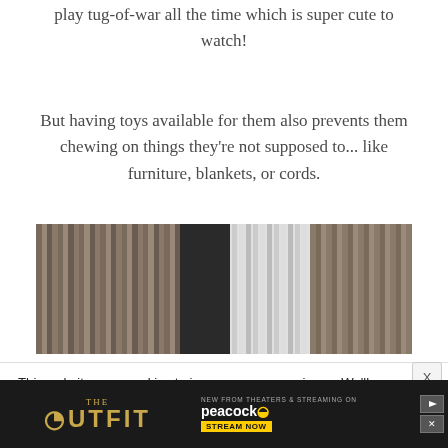play tug-of-war all the time which is super cute to watch!
But having toys available for them also prevents them chewing on things they're not supposed to... like furniture, blankets, or cords.
[Figure (photo): Close-up photo of what appears to be metal or wooden slats/bars with dark gaps between them]
This website uses cookies to improve your experience. We'll assume you are ok with this but you can opt out at any time. Click accept to continue.
[Figure (screenshot): Advertisement banner for 'The Outfit' movie, now streaming on Peacock]